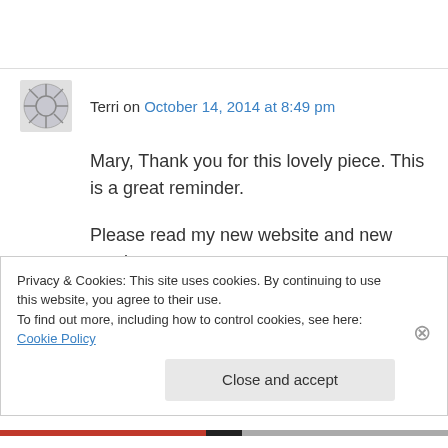Terri on October 14, 2014 at 8:49 pm
Mary, Thank you for this lovely piece. This is a great reminder.
Please read my new website and new services.
Terri Wiebold, RN, HN-BC Board Certified Holistic Nurse
Have you seen my "Insightful Blog"?
Privacy & Cookies: This site uses cookies. By continuing to use this website, you agree to their use.
To find out more, including how to control cookies, see here: Cookie Policy
Close and accept